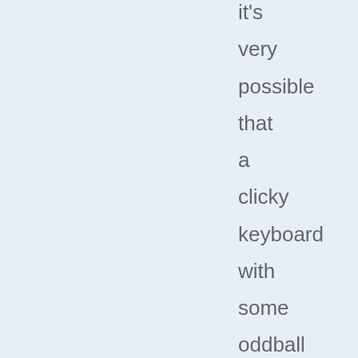it's very possible that a clicky keyboard with some oddball layout will be just as good as a $1000 ultra-ergo-board, though